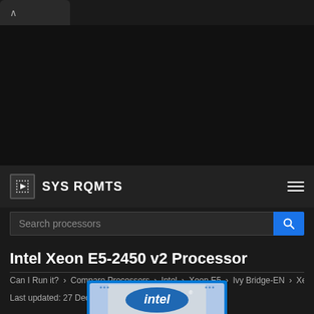SYS RQMTS
Search processors
Intel Xeon E5-2450 v2 Processor
Can I Run it? › Compare Processors › Intel › Xeon E5 › Ivy Bridge-EN › Xe
Last updated: 27 December 2021
[Figure (photo): Photo of Intel Xeon processor chip with Intel logo visible in blue and silver]